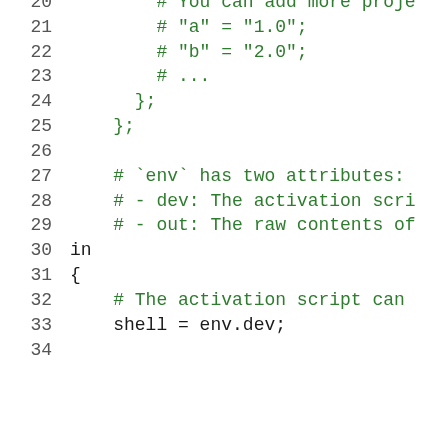Code snippet showing Nix configuration lines 20-34